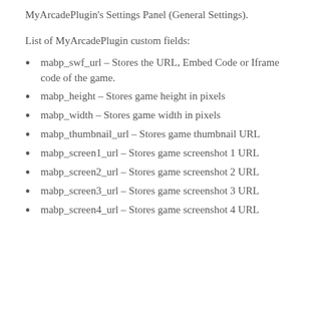MyArcadePlugin's Settings Panel (General Settings).
List of MyArcadePlugin custom fields:
mabp_swf_url – Stores the URL, Embed Code or Iframe code of the game.
mabp_height – Stores game height in pixels
mabp_width – Stores game width in pixels
mabp_thumbnail_url – Stores game thumbnail URL
mabp_screen1_url – Stores game screenshot 1 URL
mabp_screen2_url – Stores game screenshot 2 URL
mabp_screen3_url – Stores game screenshot 3 URL
mabp_screen4_url – Stores game screenshot 4 URL